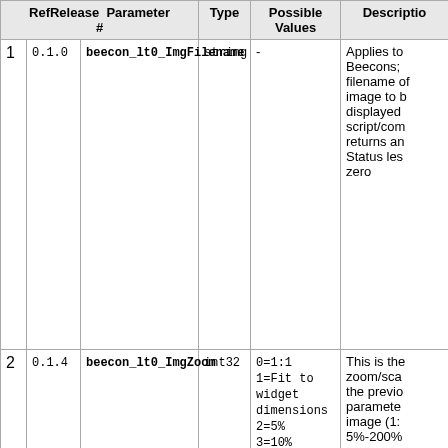| Ref # | Release | Parameter | Type | Possible Values | Description |
| --- | --- | --- | --- | --- | --- |
| 1 | 0.1.0 | beecon_lt0_ImgFilename | string | - | Applies to Beecons; filename of image to be displayed; script/com returns an Status les zero |
| 2 | 0.1.4 | beecon_lt0_ImgZoom | int32 | 0=1:1
1=Fit to widget dimensions
2=5%
3=10%
4=15%
... till 200% | This is the zoom/sca the previo paramete image (1: 5%-200% |
| 3 | 0.1.9.1 | beecon_lt0_ExtBgRGB | string | #<rrrr>
<gggg>
<bbbb> | Applies to Beecons; Backgrou color to b displayed script/com returns a |